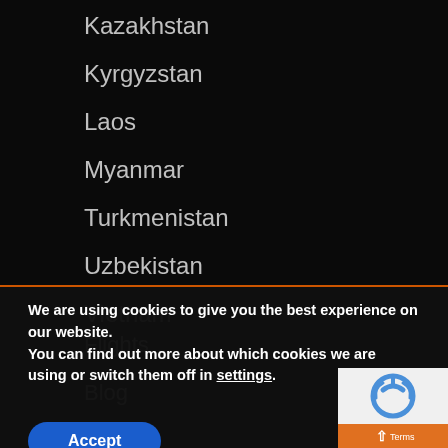Kazakhstan
Kyrgyzstan
Laos
Myanmar
Turkmenistan
Uzbekistan
Vietnam
LINKS
We are using cookies to give you the best experience on our website.
You can find out more about which cookies we are using or switch them off in settings.
Accept
Flights
Blog